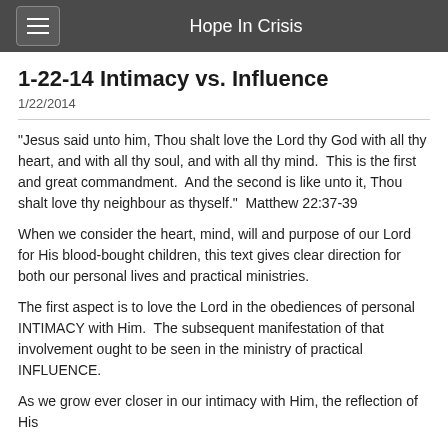Hope In Crisis
1-22-14 Intimacy vs. Influence
1/22/2014
"Jesus said unto him, Thou shalt love the Lord thy God with all thy heart, and with all thy soul, and with all thy mind.  This is the first and great commandment.  And the second is like unto it, Thou shalt love thy neighbour as thyself."  Matthew 22:37-39
When we consider the heart, mind, will and purpose of our Lord for His blood-bought children, this text gives clear direction for both our personal lives and practical ministries.
The first aspect is to love the Lord in the obediences of personal INTIMACY with Him.  The subsequent manifestation of that involvement ought to be seen in the ministry of practical INFLUENCE.
As we grow ever closer in our intimacy with Him, the reflection of His